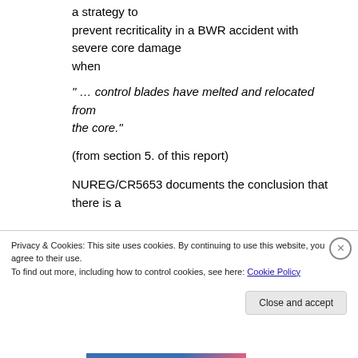a strategy to prevent recriticality in a BWR accident with severe core damage when
" … control blades have melted and relocated from the core."
(from section 5. of this report)
NUREG/CR5653 documents the conclusion that there is a
Privacy & Cookies: This site uses cookies. By continuing to use this website, you agree to their use.
To find out more, including how to control cookies, see here: Cookie Policy